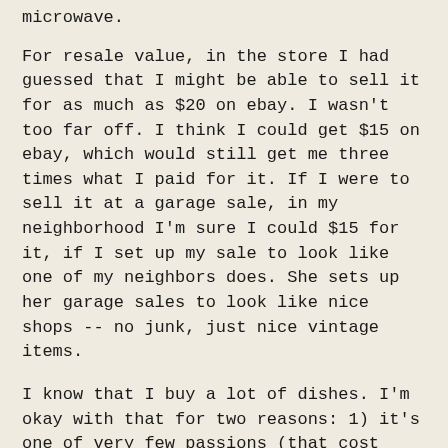microwave.
For resale value, in the store I had guessed that I might be able to sell it for as much as $20 on ebay. I wasn't too far off. I think I could get $15 on ebay, which would still get me three times what I paid for it. If I were to sell it at a garage sale, in my neighborhood I'm sure I could $15 for it, if I set up my sale to look like one of my neighbors does. She sets up her garage sales to look like nice shops -- no junk, just nice vintage items.
I know that I buy a lot of dishes. I'm okay with that for two reasons: 1) it's one of very few passions (that cost money) that I have, 2) by keeping my frivolous spending to one category of items, I am creating a stockpile of a collection with which I could set up a shop, online. A collection of similar items gives me a genre, which in turn attracts a specialized customer base. It's something that I keep in mind when I'm shopping for dishes.
Anyway, that was my fun for the morning yesterday. And it didn't break the bank!